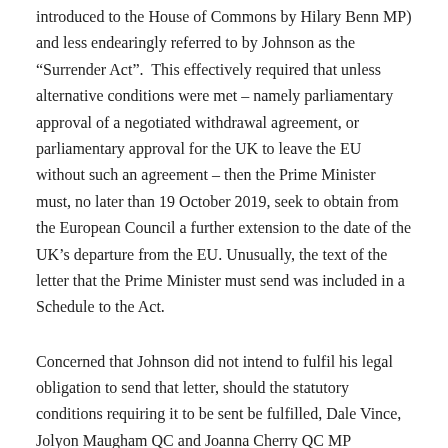introduced to the House of Commons by Hilary Benn MP) and less endearingly referred to by Johnson as the “Surrender Act”.  This effectively required that unless alternative conditions were met – namely parliamentary approval of a negotiated withdrawal agreement, or parliamentary approval for the UK to leave the EU without such an agreement – then the Prime Minister must, no later than 19 October 2019, seek to obtain from the European Council a further extension to the date of the UK’s departure from the EU. Unusually, the text of the letter that the Prime Minister must send was included in a Schedule to the Act.
Concerned that Johnson did not intend to fulfil his legal obligation to send that letter, should the statutory conditions requiring it to be sent be fulfilled, Dale Vince, Jolyon Maugham QC and Joanna Cherry QC MP submitted a petition to the nobile officium of the Court of Session.  This sought, among other things, that should Johnson fail to sign and send the extension letter to the European Council, if he was